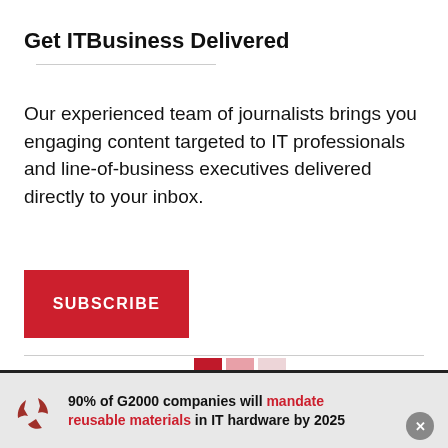Get ITBusiness Delivered
Our experienced team of journalists brings you engaging content targeted to IT professionals and line-of-business executives delivered directly to your inbox.
[Figure (other): Red SUBSCRIBE button]
[Figure (logo): ITBusiness logo grid made of red and pink squares]
90% of G2000 companies will mandate reusable materials in IT hardware by 2025